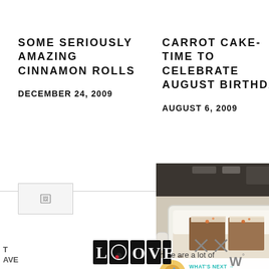SOME SERIOUSLY AMAZING CINNAMON ROLLS
DECEMBER 24, 2009
CARROT CAKE- TIME TO CELEBRATE AUGUST BIRTHDAYS
AUGUST 6, 2009
[Figure (photo): Photo of a carrot cake in a white baking dish, partially sliced, with white frosting and orange topping]
There are a lot of